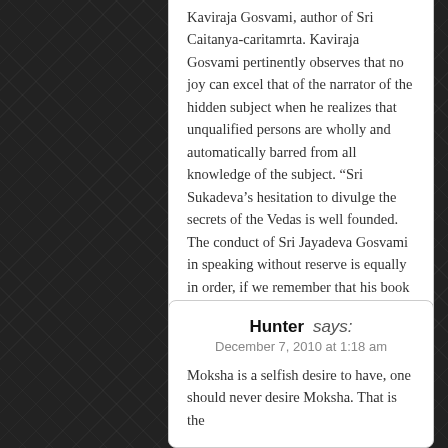Kaviraja Gosvami, author of Sri Caitanya-caritamrta. Kaviraja Gosvami pertinently observes that no joy can excel that of the narrator of the hidden subject when he realizes that unqualified persons are wholly and automatically barred from all knowledge of the subject. “Sri Sukadeva’s hesitation to divulge the secrets of the Vedas is well founded. The conduct of Sri Jayadeva Gosvami in speaking without reserve is equally in order, if we remember that his book cannot be understood at all by those who are lacking in the highest spiritual culture.
Reply
Hunter says:
December 7, 2010 at 1:18 am
Moksha is a selfish desire to have, one should never desire Moksha. That is the